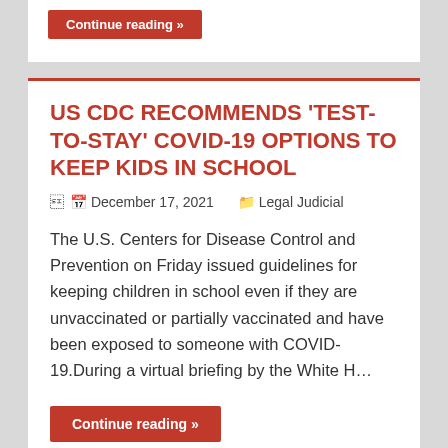Continue reading »
US CDC RECOMMENDS 'TEST-TO-STAY' COVID-19 OPTIONS TO KEEP KIDS IN SCHOOL
December 17, 2021   Legal Judicial
The U.S. Centers for Disease Control and Prevention on Friday issued guidelines for keeping children in school even if they are unvaccinated or partially vaccinated and have been exposed to someone with COVID-19.During a virtual briefing by the White H…
Continue reading »